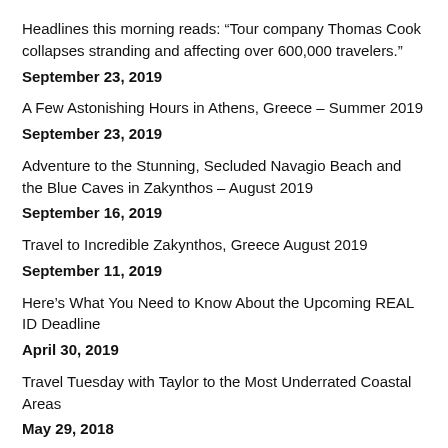Headlines this morning reads: “Tour company Thomas Cook collapses stranding and affecting over 600,000 travelers.”
September 23, 2019
A Few Astonishing Hours in Athens, Greece – Summer 2019
September 23, 2019
Adventure to the Stunning, Secluded Navagio Beach and the Blue Caves in Zakynthos – August 2019
September 16, 2019
Travel to Incredible Zakynthos, Greece August 2019
September 11, 2019
Here’s What You Need to Know About the Upcoming REAL ID Deadline
April 30, 2019
Travel Tuesday with Taylor to the Most Underrated Coastal Areas
May 29, 2018